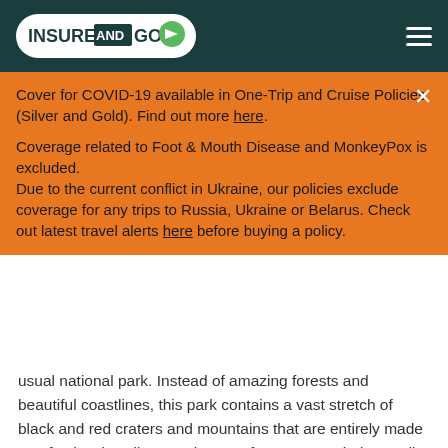INSUREANDGO
Cover for COVID-19 available in One-Trip and Cruise Policies (Silver and Gold). Find out more here.

Coverage related to Foot & Mouth Disease and MonkeyPox is excluded.
Due to the current conflict in Ukraine, our policies exclude coverage for any trips to Russia, Ukraine or Belarus. Check out latest travel alerts here before buying a policy.
usual national park. Instead of amazing forests and beautiful coastlines, this park contains a vast stretch of black and red craters and mountains that are entirely made up of volcanic soil. From the top of Montana Rajada, you'll be able to see red solidified seas of lava spread over the land, creating a landscape that is somewhat akin to being on Mars.
Wyoming: Yellowstone National Park